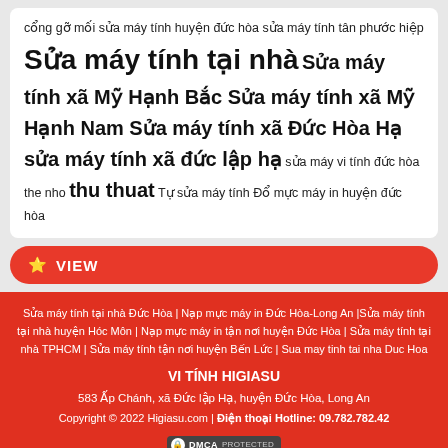cổng gỡ mối sửa máy tính huyện đức hòa sửa máy tính tân phước hiệp Sửa máy tính tại nhà Sửa máy tính xã Mỹ Hạnh Bắc Sửa máy tính xã Mỹ Hạnh Nam Sửa máy tính xã Đức Hòa Hạ sửa máy tính xã đức lập hạ sửa máy vi tính đức hòa the nho thu thuat Tự sửa máy tính Đổ mực máy in huyện đức hòa
⭐ VIEW
Sửa máy tính tại nhà Đức Hòa | Nạp mực máy in Đức Hòa-Long An |Sửa máy tính tại nhà huyện Hóc Môn | Nạp mực máy in tận nơi huyện Đức Hòa | Sửa máy tính tại nhà TPHCM | Sửa máy tính tận nơi huyện Bến Lức | Sua may tinh tai nha Duc Hoa
VI TÍNH HIGIASU
583 Ấp Chánh, xã Đức lập Hạ, huyện Đức Hòa, Long An
Copyright © 2022 Higiasu.com | Điện thoại Hotline: 09.782.782.42
DMCA PROTECTED